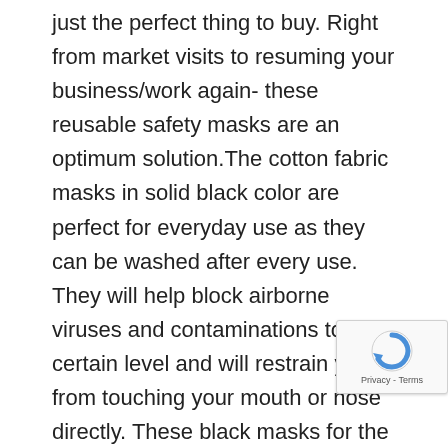just the perfect thing to buy. Right from market visits to resuming your business/work again- these reusable safety masks are an optimum solution.The cotton fabric masks in solid black color are perfect for everyday use as they can be washed after every use. They will help block airborne viruses and contaminations to a certain level and will restrain you from touching your mouth or nose directly. These black masks for the face are made from cotton lycra fabric and do not exhibit adequate filter performance. However, they work by preventing infectious droplets from directly landing on your mouth or nose.These masks are also a budgeted alternative to expensive medical-grade commercial face masks. We recommended you to wear them in public settings that have other social distancing measures in place. These plain cloth masks provide an extra layer of protection hence reducing the chances of any respiratory droplets come in direct contact with your mouth or nose. So, not
[Figure (other): reCAPTCHA badge with spinning logo and Privacy - Terms text]